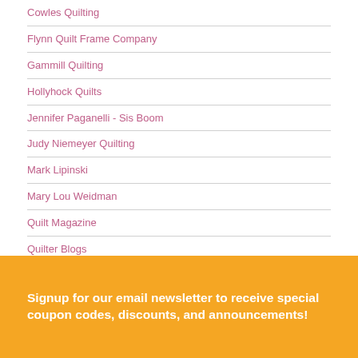Cowles Quilting
Flynn Quilt Frame Company
Gammill Quilting
Hollyhock Quilts
Jennifer Paganelli - Sis Boom
Judy Niemeyer Quilting
Mark Lipinski
Mary Lou Weidman
Quilt Magazine
Quilter Blogs
Ricky Tims
The Pioneer Woman
The Quilt Show
Signup for our email newsletter to receive special coupon codes, discounts, and announcements!